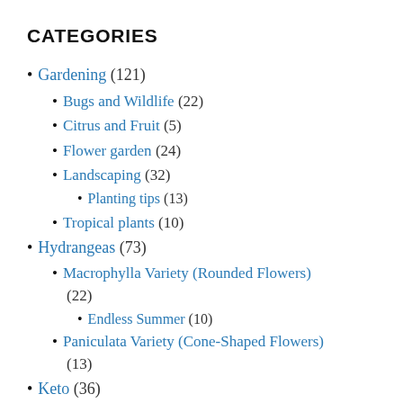CATEGORIES
Gardening (121)
Bugs and Wildlife (22)
Citrus and Fruit (5)
Flower garden (24)
Landscaping (32)
Planting tips (13)
Tropical plants (10)
Hydrangeas (73)
Macrophylla Variety (Rounded Flowers) (22)
Endless Summer (10)
Paniculata Variety (Cone-Shaped Flowers) (13)
Keto (36)